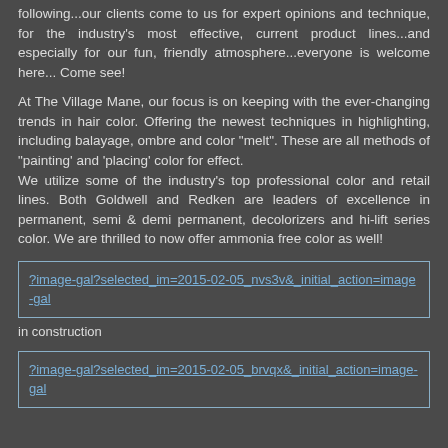following...our clients come to us for expert opinions and technique, for the industry's most effective, current product lines...and especially for our fun, friendly atmosphere...everyone is welcome here... Come see!
At The Village Mane, our focus is on keeping with the ever-changing trends in hair color. Offering the newest techniques in highlighting, including balayage, ombre and color "melt". These are all methods of "painting' and 'placing' color for effect.
We utilize some of the industry's top professional color and retail lines. Both Goldwell and Redken are leaders of excellence in permanent, semi & demi permanent, decolorizers and hi-lift series color. We are thrilled to now offer ammonia free color as well!
?image-gal?selected_im=2015-02-05_nvs3v&_initial_action=image-gal
in construction
?image-gal?selected_im=2015-02-05_brvqx&_initial_action=image-gal